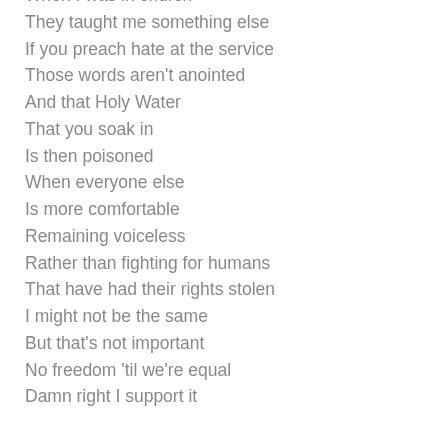When I was in church
They taught me something else
If you preach hate at the service
Those words aren't anointed
And that Holy Water
That you soak in
Is then poisoned
When everyone else
Is more comfortable
Remaining voiceless
Rather than fighting for humans
That have had their rights stolen
I might not be the same
But that's not important
No freedom 'til we're equal
Damn right I support it